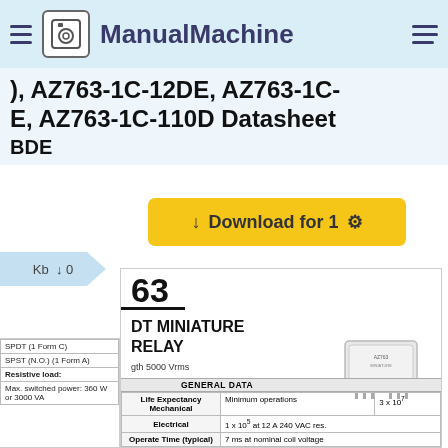ManualMachine
AZ763-1C-12DE, AZ763-1C-E, AZ763-1C-110D Datasheet
[Figure (screenshot): Download for 1 button with gear icon]
Kb  ↓0
63
DT MINIATURE RELAY
gth 5000 Vrms
.7 mm
version available
ng
g greater than 10mm
ndex (PTI/CTI) 250
urements of VDE 0631/0700
43203; VDE 112904
[Figure (photo): Photo of white miniature relay component]
| GENERAL DATA |  |  |
| --- | --- | --- |
| Life Expectancy Mechanical | Minimum operations | 3 x 10⁷ |
| Electrical | 1 x 10⁵ at 12 A 240 VAC res. |
| Operate Time (typical) | 7 ms at nominal coil voltage |
| SPDT (1 Form C) |  |
| SPST (N.O.) (1 Form A) |  |
| Resistive load: |  |
| Max. switched power: 360 W or 3000 VA |  |